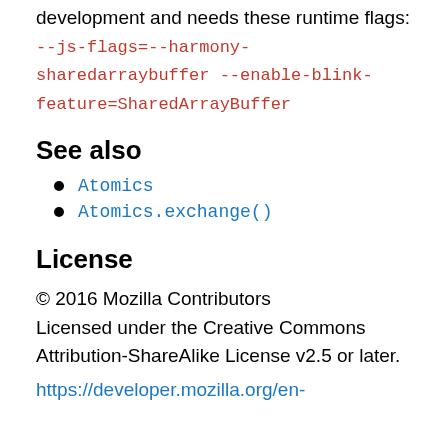development and needs these runtime flags: --js-flags=--harmony-sharedarraybuffer --enable-blink-feature=SharedArrayBuffer
See also
Atomics
Atomics.exchange()
License
© 2016 Mozilla Contributors Licensed under the Creative Commons Attribution-ShareAlike License v2.5 or later.
https://developer.mozilla.org/en-